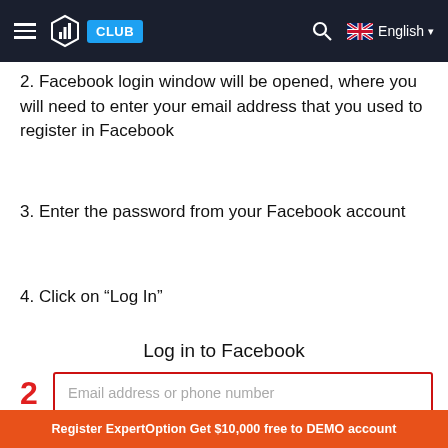CLUB | Search | English
2. Facebook login window will be opened, where you will need to enter your email address that you used to register in Facebook
3. Enter the password from your Facebook account
4. Click on “Log In”
[Figure (screenshot): Screenshot of Facebook login form showing 'Log in to Facebook' title with an email address or phone number input field highlighted with a red border, and a red number 2 indicator]
Register ExpertOption Get $10,000 free to DEMO account